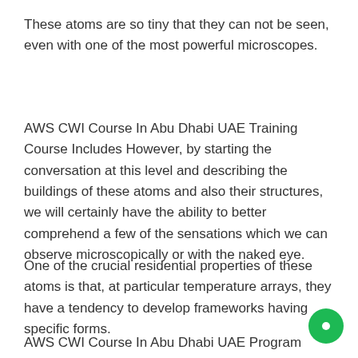These atoms are so tiny that they can not be seen, even with one of the most powerful microscopes.
AWS CWI Course In Abu Dhabi UAE Training Course Includes However, by starting the conversation at this level and describing the buildings of these atoms and also their structures, we will certainly have the ability to better comprehend a few of the sensations which we can observe microscopically or with the naked eye.
One of the crucial residential properties of these atoms is that, at particular temperature arrays, they have a tendency to develop frameworks having specific forms.
AWS CWI Course In Abu Dhabi UAE Program Includes This